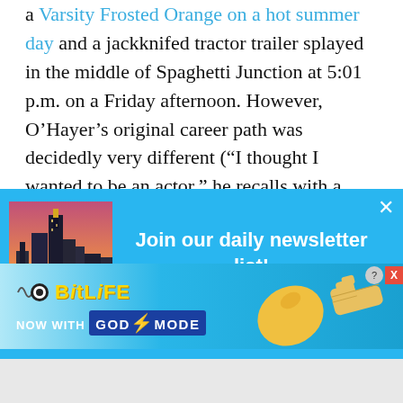a Varsity Frosted Orange on a hot summer day and a jackknifed tractor trailer splayed in the middle of Spaghetti Junction at 5:01 p.m. on a Friday afternoon. However, O’Hayer’s original career path was decidedly very different (“I thought I wanted to be an actor,” he recalls with a laugh. “But I very
[Figure (screenshot): Newsletter popup with blue background, city skyline image, title 'Join our daily newsletter list!', close button X, and text 'Start your morning with us. The Daily Brief delivers']
[Figure (infographic): BitLife advertisement banner with 'NOW WITH GOD MODE' text, yellow hand pointing, and close/help buttons]